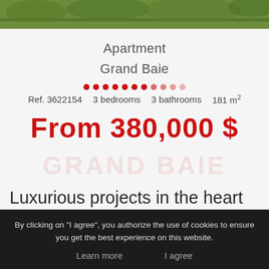[Figure (photo): Green grass/garden photo at top of listing card]
Apartment
Grand Baie
Ref. 3622154   3 bedrooms   3 bathrooms   181 m²
From 380,000 $
Luxurious projects in the heart of
By clicking on "I agree", you authorize the use of cookies to ensure you get the best experience on this website.
Learn more    I agree